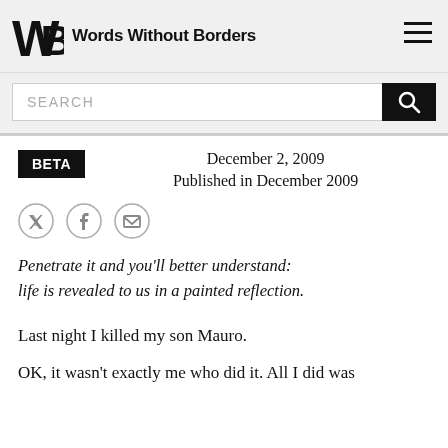Words Without Borders
December 2, 2009
Published in December 2009
Penetrate it and you'll better understand:
life is revealed to us in a painted reflection.
Last night I killed my son Mauro.
OK, it wasn't exactly me who did it. All I did was